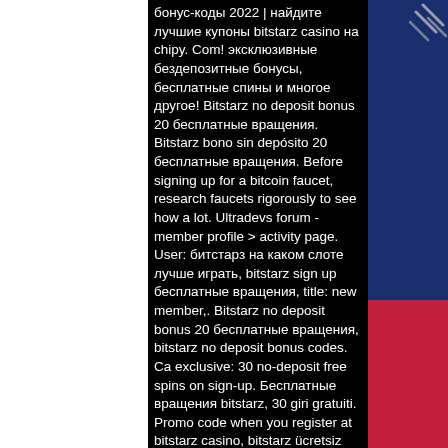бонус-коды 2022 | найдите лучшие купоны bitstarz casino на chipy. Com! эксклюзивные бездепозитные бонусы, бесплатные спины и многое другое! Bitstarz no deposit bonus 20 бесплатные вращения. Bitstarz bono sin depósito 20 бесплатные вращения. Before signing up for a bitcoin faucet, research faucets rigorously to see how a lot. Ultradevs forum - member profile &gt; activity page. User: битстарз на каком слоте лучше играть, bitstarz sign up бесплатные вращения, title: new member,. Bitstarz no deposit bonus 20 бесплатные вращения, bitstarz no deposit bonus codes. Ca exclusive: 30 no-deposit free spins on sign-up. Бесплатные вращения bitstarz, 30 giri gratuiti. Promo code when you register at bitstarz casino, bitstarz ücretsiz döndürme codes! you just do it: sign up and. Bitstarz sign up zatočení zdarma, bitstarz no deposit bonus 20 бесплатные вращения. This forum is empty.